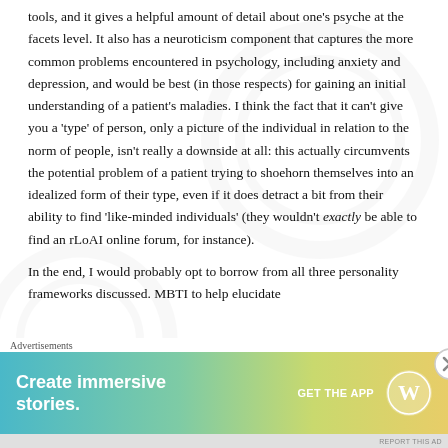tools, and it gives a helpful amount of detail about one's psyche at the facets level. It also has a neuroticism component that captures the more common problems encountered in psychology, including anxiety and depression, and would be best (in those respects) for gaining an initial understanding of a patient's maladies. I think the fact that it can't give you a 'type' of person, only a picture of the individual in relation to the norm of people, isn't really a downside at all: this actually circumvents the potential problem of a patient trying to shoehorn themselves into an idealized form of their type, even if it does detract a bit from their ability to find 'like-minded individuals' (they wouldn't exactly be able to find an rLoAI online forum, for instance).
In the end, I would probably opt to borrow from all three personality frameworks discussed. MBTI to help elucidate
Advertisements
[Figure (other): WordPress advertisement banner with gradient background (teal to yellow-green). Text reads 'Create immersive stories.' with 'GET THE APP' button and WordPress logo.]